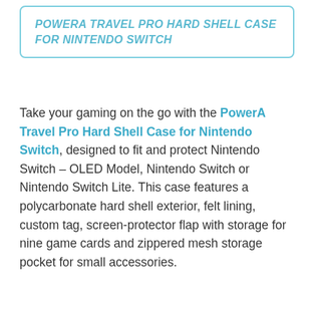POWERA TRAVEL PRO HARD SHELL CASE FOR NINTENDO SWITCH
Take your gaming on the go with the PowerA Travel Pro Hard Shell Case for Nintendo Switch, designed to fit and protect Nintendo Switch – OLED Model, Nintendo Switch or Nintendo Switch Lite. This case features a polycarbonate hard shell exterior, felt lining, custom tag, screen-protector flap with storage for nine game cards and zippered mesh storage pocket for small accessories.